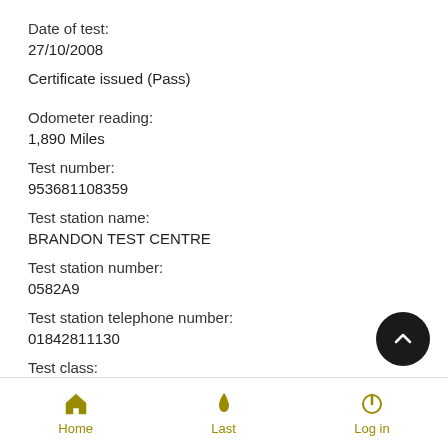Date of test:
27/10/2008
Certificate issued (Pass)
Odometer reading:
1,890 Miles
Test number:
953681108359
Test station name:
BRANDON TEST CENTRE
Test station number:
0582A9
Test station telephone number:
01842811130
Test class:
II
Test expiry date:
Home  Last  Log in